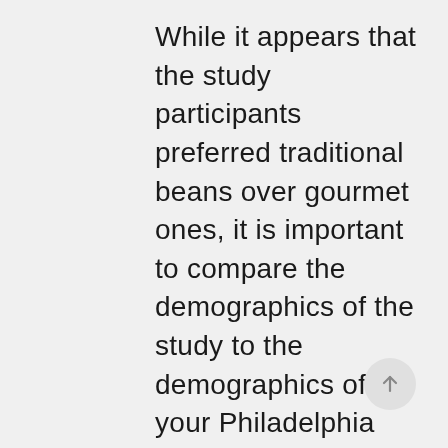While it appears that the study participants preferred traditional beans over gourmet ones, it is important to compare the demographics of the study to the demographics of your Philadelphia employees before making a decision. For example, only 19 percent of the 18 to 24 year-olds in the study drank traditional coffee while over 30 percent of the same cohort preferred the gourmet version. In older demographics, the traditional variety does better, but gourmet beans still draws in more than 30 percent of that age group.